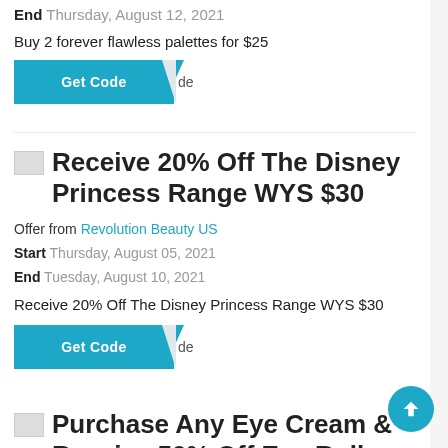End Thursday, August 12, 2021
Buy 2 forever flawless palettes for $25
[Figure (screenshot): Get Code button with teal background and folded corner effect]
Receive 20% Off The Disney Princess Range WYS $30
Offer from Revolution Beauty US
Start Thursday, August 05, 2021
End Tuesday, August 10, 2021
Receive 20% Off The Disney Princess Range WYS $30
[Figure (screenshot): Get Code button with teal background and folded corner effect]
Purchase Any Eye Cream & Receive 50% Off Eye Roller Ball